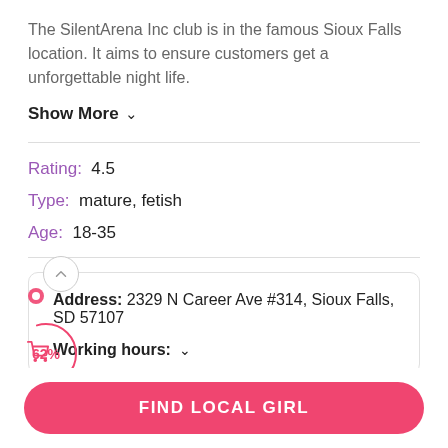The SilentArena Inc club is in the famous Sioux Falls location. It aims to ensure customers get a unforgettable night life.
Show More ∨
Rating:  4.5
Type:  mature, fetish
Age:  18-35
Address:  2329 N Career Ave #314, Sioux Falls, SD 57107
Working hours:  ∨
FIND LOCAL GIRL